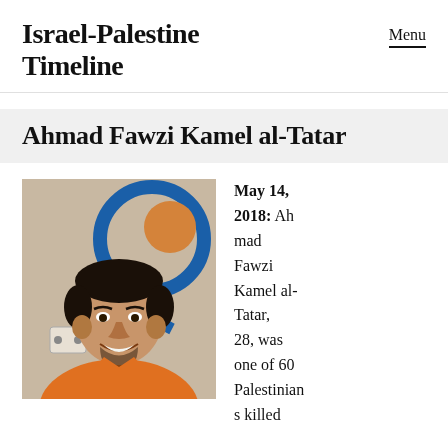Israel-Palestine Timeline
Ahmad Fawzi Kamel al-Tatar
[Figure (photo): Portrait photo of Ahmad Fawzi Kamel al-Tatar, a young man wearing an orange shirt, smiling, with a blue and orange circular wall decoration in the background.]
May 14, 2018:  Ahmad Fawzi Kamel al-Tatar, 28, was one of 60 Palestinians killed